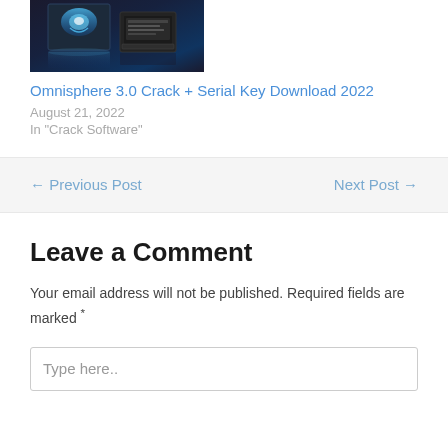[Figure (photo): Software product box image showing Omnisphere with blue glowing interface, dark metallic design with reflection below]
Omnisphere 3.0 Crack + Serial Key Download 2022
August 21, 2022
In "Crack Software"
← Previous Post
Next Post →
Leave a Comment
Your email address will not be published. Required fields are marked *
Type here..